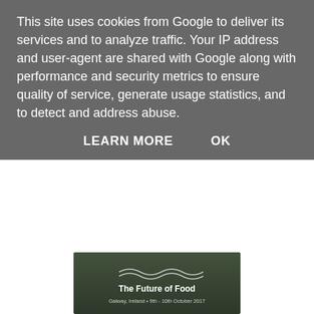This site uses cookies from Google to deliver its services and to analyze traffic. Your IP address and user-agent are shared with Google along with performance and security metrics to ensure quality of service, generate usage statistics, and to detect and address abuse.
LEARN MORE    OK
[Figure (photo): Event banner for Food On The Edge symposium showing 'The Future of Food', Galway, Ireland, 9th - 10th October 2017, with a dark landscape background and stylized logo]
The principal theme of this year's Food On The Edge symposium is Action : Reaction and the emphasis for the talk is on the vision for the future of food and how we can make things better on both a local and a global level.
Speaking at the recent Irish launch, JP McMahon said, “After three years it was time to reflect on the issues we've been talking about and try to change or act on them. Feedback